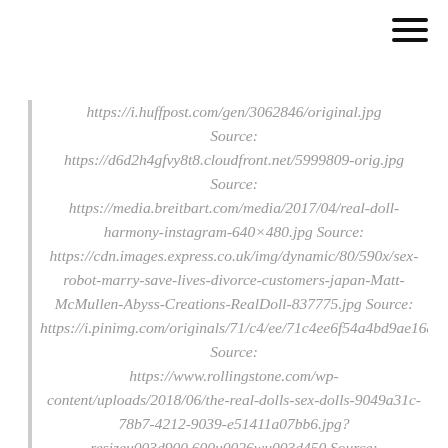menu
https://i.huffpost.com/gen/3062846/original.jpg Source: https://d6d2h4gfvy8t8.cloudfront.net/5999809-orig.jpg Source: https://media.breitbart.com/media/2017/04/real-doll-harmony-instagram-640×480.jpg Source: https://cdn.images.express.co.uk/img/dynamic/80/590x/sex-robot-marry-save-lives-divorce-customers-japan-Matt-McMullen-Abyss-Creations-RealDoll-837775.jpg Source: https://i.pinimg.com/originals/71/c4/ee/71c4ee6f54a4bd9ae1683f59815f7ba8.jpg Source: https://www.rollingstone.com/wp-content/uploads/2018/06/the-real-dolls-sex-dolls-9049a31c-78b7-4212-9039-e51411a07bb6.jpg?resizeu003d900,600u0026wu003d450 Source: https://i.pinimg.com/originals/dc/00/a1/dc00a1ac6aa5